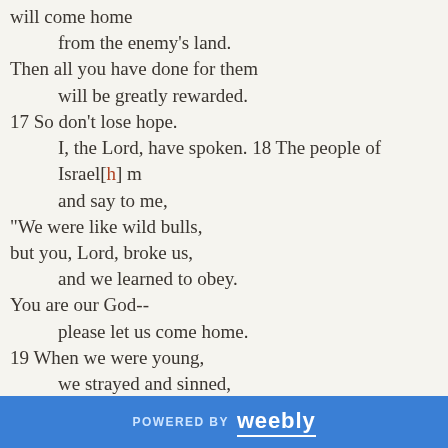will come home
    from the enemy's land.
Then all you have done for them
    will be greatly rewarded.
17 So don't lose hope.
    I, the Lord, have spoken. 18 The people of Israel[h] m
    and say to me,
"We were like wild bulls,
but you, Lord, broke us,
    and we learned to obey.
You are our God--
    please let us come home.
19 When we were young,
    we strayed and sinned,
but then we realized
    what we had done.
We are ashamed and disgraced
    and want to return to you." 20 People of Israel
POWERED BY weebly